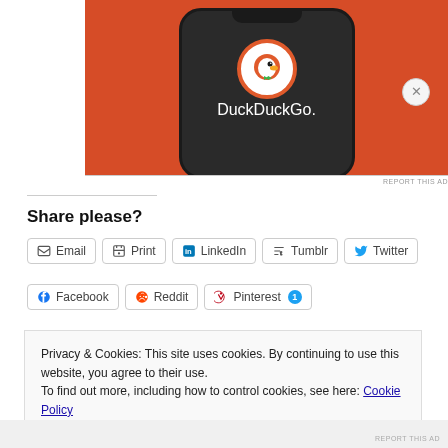[Figure (screenshot): DuckDuckGo app advertisement showing a smartphone with the DuckDuckGo logo on a dark screen against an orange background]
REPORT THIS AD
Share please?
Email | Print | LinkedIn | Tumblr | Twitter | Facebook | Reddit | Pinterest 1
Privacy & Cookies: This site uses cookies. By continuing to use this website, you agree to their use. To find out more, including how to control cookies, see here: Cookie Policy
Close and accept